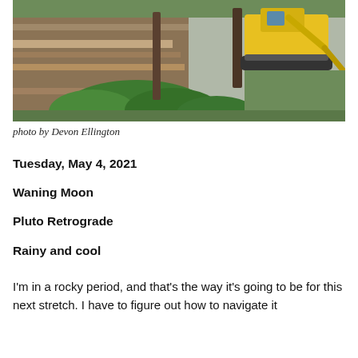[Figure (photo): Outdoor scene showing a yellow excavator/construction machine digging into a hillside with exposed soil layers and tree roots. Green shrubs visible in the foreground, grass in the background.]
photo by Devon Ellington
Tuesday, May 4, 2021
Waning Moon
Pluto Retrograde
Rainy and cool
I'm in a rocky period, and that's the way it's going to be for this next stretch. I have to figure out how to navigate it